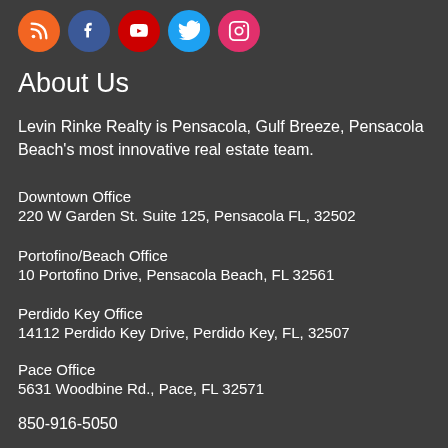[Figure (illustration): Row of five social media icon circles: RSS (orange), Facebook (blue), YouTube (red), Twitter (light blue), Instagram (pink/magenta)]
About Us
Levin Rinke Realty is Pensacola, Gulf Breeze, Pensacola Beach's most innovative real estate team.
Downtown Office
220 W Garden St. Suite 125, Pensacola FL, 32502
Portofino/Beach Office
10 Portofino Drive, Pensacola Beach, FL 32561
Perdido Key Office
14112 Perdido Key Drive, Perdido Key, FL, 32507
Pace Office
5631 Woodbine Rd., Pace, FL 32571
850-916-5050